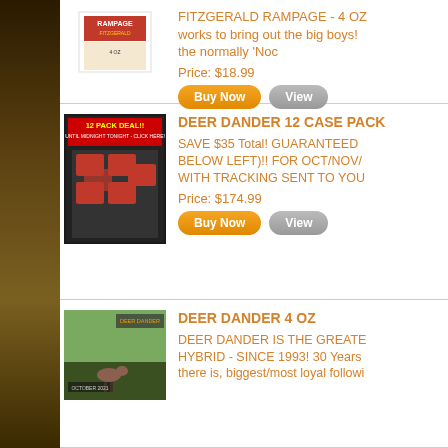[Figure (photo): Product image of Rampage deer attractant package]
FITZGERALD RAMPAGE - 4 OZ works to bring out the big boys! the normally 'Noc
Price: $18.99
[Figure (photo): 12 Pack Deal product image showing boxes of deer attractant with text '12 PACK DEAL!! UNTIL MIDNIGHT TONIGHT - CLICK HERE!']
DEER DANDER 12 CASE PACK
SAVE $35 Total! GUARANTEED BELOW LEFT)!! FOR OCT/NOV/ WITH TRACKING SENT TO YOU
Price: $174.99
[Figure (photo): Deer Dander 4 OZ product image showing outdoor hunting scene with deer]
DEER DANDER 4 OZ
DEER DANDER IS THE GREATEST HYBRID - SINCE 1993! 30 Years there is, biggest/most loyal followi